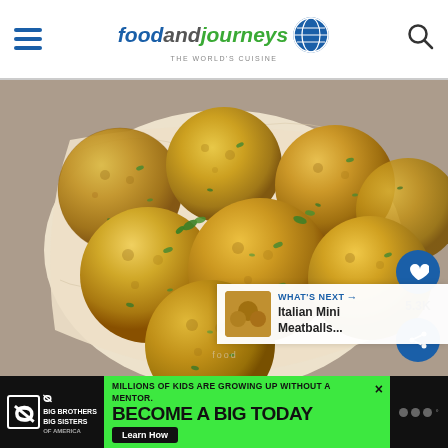foodandjourneys
[Figure (photo): A basket lined with parchment paper containing multiple golden-brown breaded and fried meatballs/croquettes garnished with green herbs, photographed from above on a grey stone surface.]
5.3K
WHAT'S NEXT → Italian Mini Meatballs...
[Figure (photo): Small thumbnail image of Italian Mini Meatballs for the 'What's Next' recommendation card.]
MILLIONS OF KIDS ARE GROWING UP WITHOUT A MENTOR. BECOME A BIG TODAY
Big Brothers Big Sisters of America — BECOME A BIG TODAY — Learn How